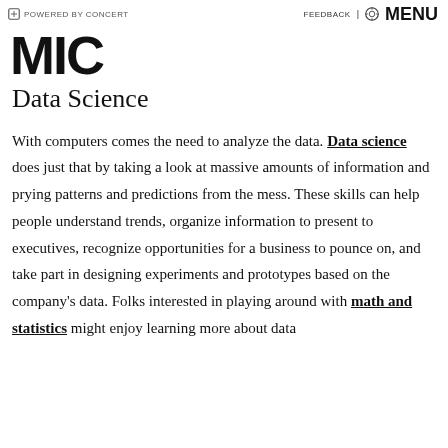POWERED BY CONCERT | FEEDBACK | MENU
MIC
Data Science
With computers comes the need to analyze the data. Data science does just that by taking a look at massive amounts of information and prying patterns and predictions from the mess. These skills can help people understand trends, organize information to present to executives, recognize opportunities for a business to pounce on, and take part in designing experiments and prototypes based on the company's data. Folks interested in playing around with math and statistics might enjoy learning more about data